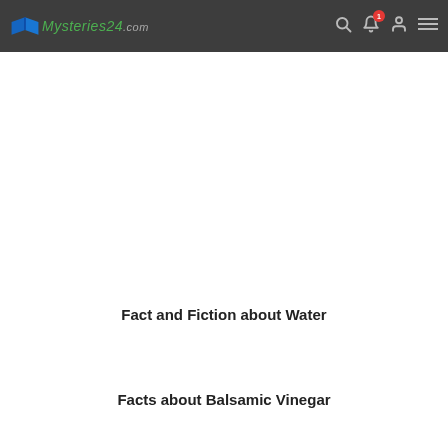Mysteries24.com
[Figure (screenshot): White advertisement banner area]
FROM MEDIA
Fact and Fiction about Water
Facts about Balsamic Vinegar